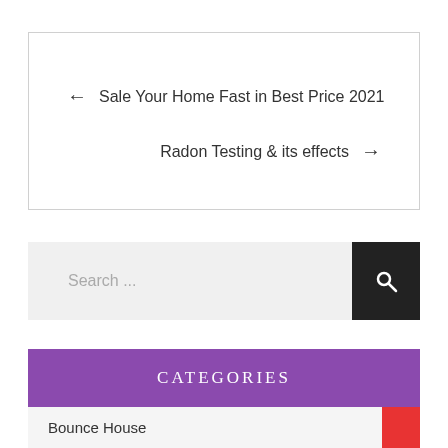← Sale Your Home Fast in Best Price 2021
Radon Testing & its effects →
Search ...
CATEGORIES
Bounce House